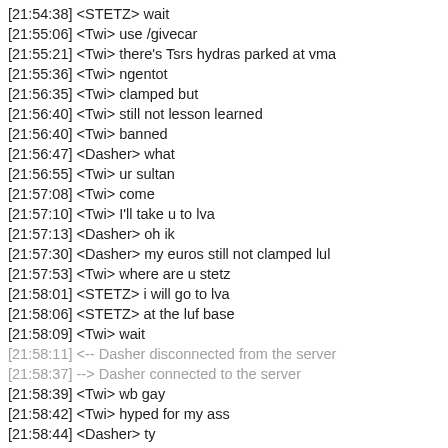[21:54:38] <STETZ> wait
[21:55:06] <Twi> use /givecar
[21:55:21] <Twi> there's Tsrs hydras parked at vma
[21:55:36] <Twi> ngentot
[21:56:35] <Twi> clamped but
[21:56:40] <Twi> still not lesson learned
[21:56:40] <Twi> banned
[21:56:47] <Dasher> what
[21:56:55] <Twi> ur sultan
[21:57:08] <Twi> come
[21:57:10] <Twi> I'll take u to lva
[21:57:13] <Dasher> oh ik
[21:57:30] <Dasher> my euros still not clamped lul
[21:57:53] <Twi> where are u stetz
[21:58:01] <STETZ> i will go to lva
[21:58:06] <STETZ> at the luf base
[21:58:09] <Twi> wait
[21:58:11] <-- Dasher disconnected from the server
[21:58:37] --> Dasher connected to the server
[21:58:39] <Twi> wb gay
[21:58:42] <Twi> hyped for my ass
[21:58:44] <Dasher> ty
[21:58:52] <STETZ> webe
[21:59:02] <Twi> g
[21:59:05] <-- Dasher disconnected from the server